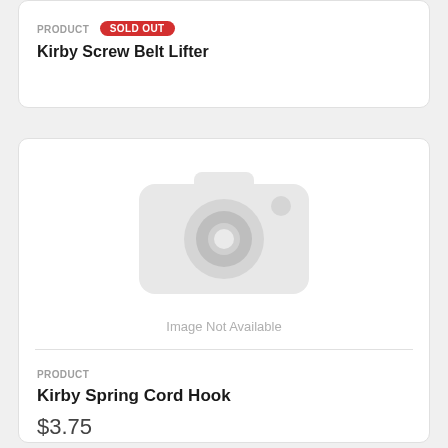PRODUCT  SOLD OUT
Kirby Screw Belt Lifter
[Figure (other): Image Not Available placeholder with camera icon]
PRODUCT
Kirby Spring Cord Hook
$3.75